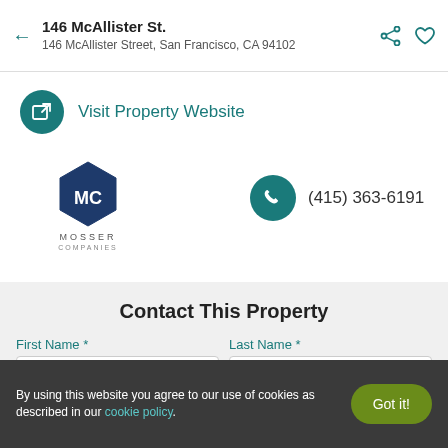146 McAllister St. — 146 McAllister Street, San Francisco, CA 94102
Visit Property Website
[Figure (logo): Mosser Companies hexagon logo with letters MC]
(415) 363-6191
Contact This Property
First Name *
Last Name *
First Name
Last Name
By using this website you agree to our use of cookies as described in our cookie policy.